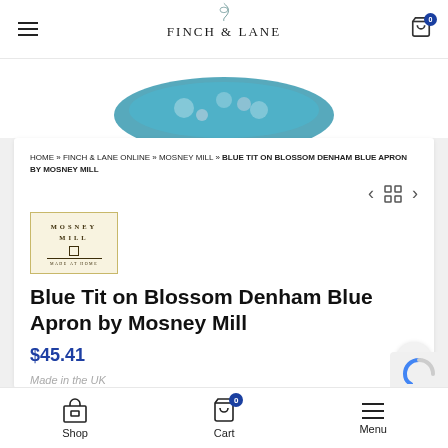FINCH & LANE
[Figure (photo): Partial product image showing a blue floral apron cropped at top]
HOME » FINCH & LANE ONLINE » MOSNEY MILL » BLUE TIT ON BLOSSOM DENHAM BLUE APRON BY MOSNEY MILL
[Figure (logo): Mosney Mill brand logo in cream/gold bordered box]
Blue Tit on Blossom Denham Blue Apron by Mosney Mill
$45.41
Made in the UK
Shop   Cart   Menu